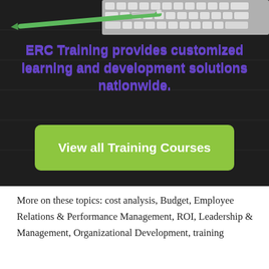[Figure (photo): Dark chalkboard/desk background with a green pen and keyboard at top, serving as hero image background]
ERC Training provides customized learning and development solutions nationwide.
View all Training Courses
More on these topics: cost analysis, Budget, Employee Relations & Performance Management, ROI, Leadership & Management, Organizational Development, training